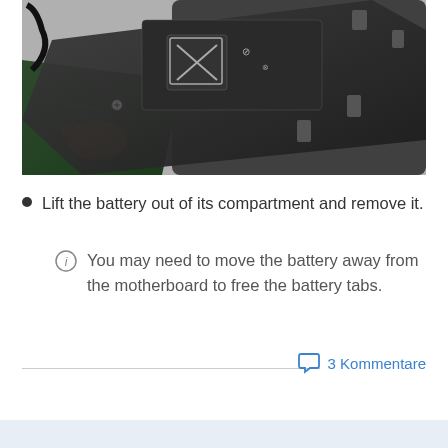[Figure (photo): Close-up photo of a laptop interior showing a black battery being removed from its compartment, with the motherboard and circuit board visible beneath]
Lift the battery out of its compartment and remove it.
You may need to move the battery away from the motherboard to free the battery tabs.
3 Kommentare